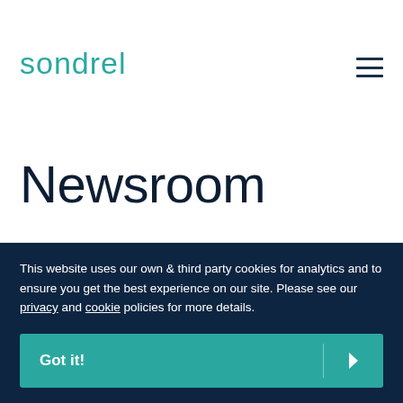sondrel
Newsroom
This website uses our own & third party cookies for analytics and to ensure you get the best experience on our site. Please see our privacy and cookie policies for more details.
Got it!